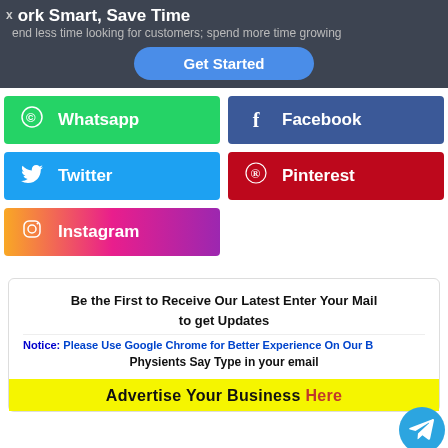Work Smart, Save Time
spend less time looking for customers; spend more time growing
Get Started
[Figure (infographic): Social media share buttons: Whatsapp (green), Facebook (blue), Twitter (cyan), Pinterest (red), Instagram (gradient)]
Be the First to Receive Our Latest Enter Your Mail to get Updates
Notice: Please Use Google Chrome for Better Experience On Our B...
Physients Say Type in your email
[Figure (infographic): Yellow advertisement banner: Advertise Your Business Here]